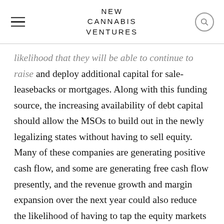NEW CANNABIS VENTURES
likelihood that they will be able to continue to raise and deploy additional capital for sale-leasebacks or mortgages. Along with this funding source, the increasing availability of debt capital should allow the MSOs to build out in the newly legalizing states without having to sell equity. Many of these companies are generating positive cash flow, and some are generating free cash flow presently, and the revenue growth and margin expansion over the next year could also reduce the likelihood of having to tap the equity markets to fund expansion, relying instead upon their own cash as well as sale-leasebacks and debt.